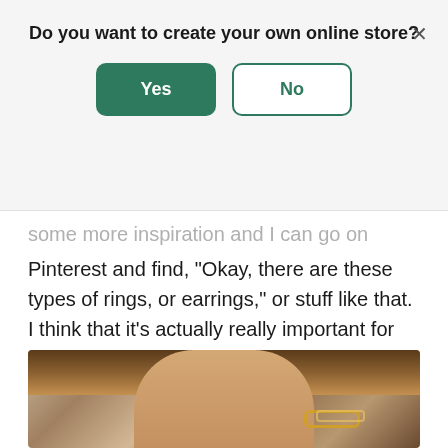Do you want to create your own online store?
Yes
No
some more inspiration and I can go on Pinterest and find, "Okay, there are these types of rings, or earrings," or stuff like that. I think that it's actually really important for me to stay tuned into what people like. But I think when I started, and what I am trying to hold onto, is to make something I want.
[Figure (photo): Photo of a young woman with blonde highlighted hair wearing gold bracelets, holding her hair back with one hand, wearing a dark olive/brown knit sweater.]